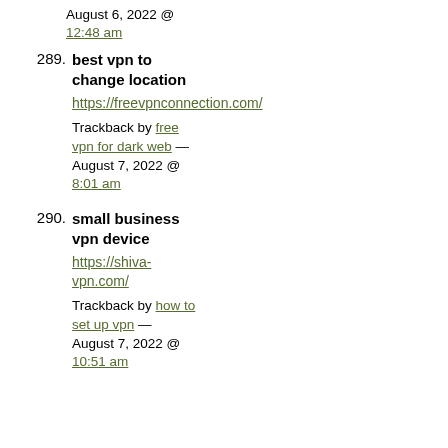August 6, 2022 @
12:48 am
289. best vpn to change location
https://freevpnconnection.com/
Trackback by free vpn for dark web — August 7, 2022 @ 8:01 am
290. small business vpn device
https://shiva-vpn.com/
Trackback by how to set up vpn — August 7, 2022 @ 10:51 am